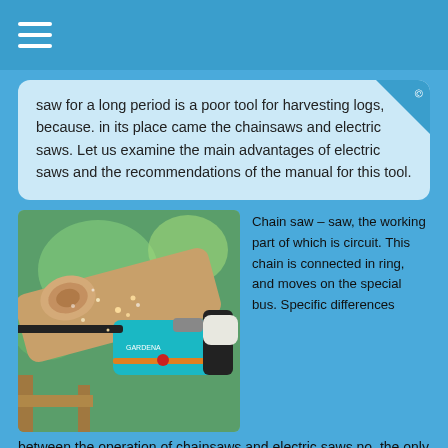saw for a long period is a poor tool for harvesting logs, because. in its place came the chainsaws and electric saws. Let us examine the main advantages of electric saws and the recommendations of the manual for this tool.
[Figure (photo): A person using a blue-and-black chainsaw to cut through a wooden log, with sawdust flying. Green foliage in the background.]
Chain saw – saw, the working part of which is circuit. This chain is connected in ring, and moves on the special bus. Specific differences between the operation of chainsaws and electric saws no, the only difference is engine type. Immediately it is worth noting